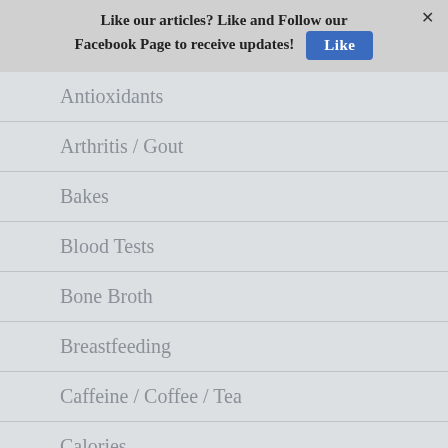Like our articles? Like and Follow our Facebook Page to receive updates!
Antioxidants
Arthritis / Gout
Bakes
Blood Tests
Bone Broth
Breastfeeding
Caffeine / Coffee / Tea
Calories